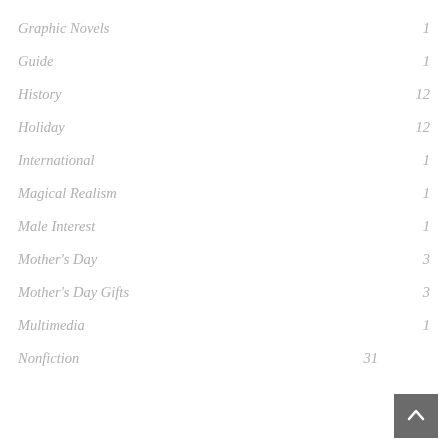Graphic Novels  1
Guide  1
History  12
Holiday  12
International  1
Magical Realism  1
Male Interest  1
Mother's Day  3
Mother's Day Gifts  3
Multimedia  1
Nonfiction  31